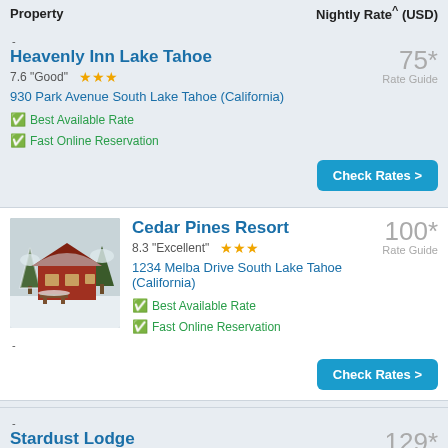Property | Nightly Rate* (USD)
Heavenly Inn Lake Tahoe
7.6 "Good" ★★★
930 Park Avenue South Lake Tahoe (California)
Best Available Rate
Fast Online Reservation
75* Rate Guide
Cedar Pines Resort
8.3 "Excellent" ★★★
[Figure (photo): Exterior photo of Cedar Pines Resort showing snow-covered pine trees and a red chalet-style building with a picnic table in the foreground]
1234 Melba Drive South Lake Tahoe (California)
Best Available Rate
Fast Online Reservation
100* Rate Guide
Stardust Lodge
8 "Excellent" ★★
4061 Lake Tahoe Boulevard South Lake Tahoe
129* Rate Guide